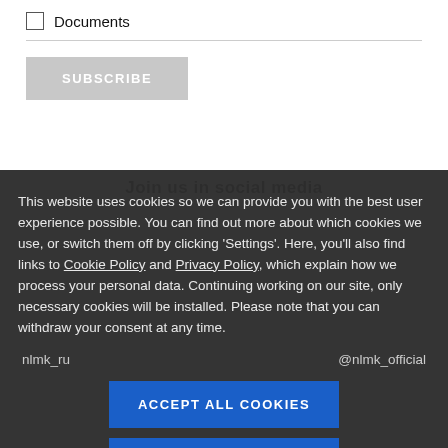Documents
SUBSCRIBE
This website uses cookies so we can provide you with the best user experience possible. You can find out more about which cookies we use, or switch them off by clicking ‘Settings’. Here, you’ll also find links to Cookie Policy and Privacy Policy, which explain how we process your personal data. Continuing working on our site, only necessary cookies will be installed. Please note that you can withdraw your consent at any time.
ACCEPT ALL COOKIES
SETTINGS
nlmk_ru
@nlmk_official